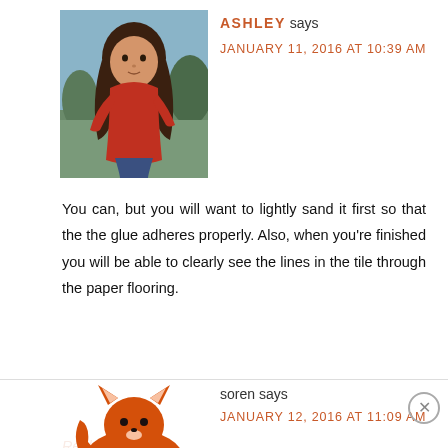[Figure (photo): Avatar photo of Ashley, a woman with long hair wearing a red top, seated outdoors]
ASHLEY says
JANUARY 11, 2016 AT 10:39 AM
You can, but you will want to lightly sand it first so that the the glue adheres properly. Also, when you're finished you will be able to clearly see the lines in the tile through the paper flooring.
Reply
[Figure (illustration): Avatar illustration of Soren, a cartoon fox or animal figure in orange]
soren says
JANUARY 12, 2016 AT 11:09 AM